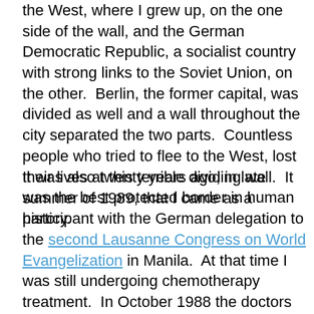the West, where I grew up, on the one side of the wall, and the German Democratic Republic, a socialist country with strong links to the Soviet Union, on the other.  Berlin, the former capital, was divided as well and a wall throughout the city separated the two parts.  Countless people who tried to flee to the West, lost their lives at this terrible dividing wall.  It was the best protected border in human history.
It was also twenty years ago, in late summer of 1989, that I came as a participant with the German delegation to the second Lausanne Congress on World Evangelization in Manila.  At that time I was still undergoing chemotherapy treatment.  In October 1988 the doctors had detected Morbus Hodgkin, a cancer of the lymph system.  It was in its last stage and the doctors told my husband that I would live till Christmas,